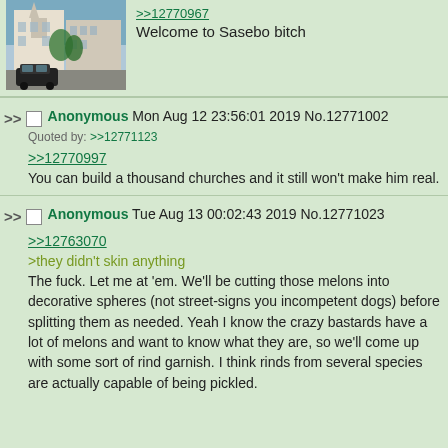[Figure (photo): Street photo showing buildings and a dark car, appears to be a Japanese city street with a church or large building visible.]
>>12770967
Welcome to Sasebo bitch
>> Anonymous Mon Aug 12 23:56:01 2019 No.12771002
Quoted by: >>12771123

>>12770997
You can build a thousand churches and it still won't make him real.
>> Anonymous Tue Aug 13 00:02:43 2019 No.12771023

>>12763070
>they didn't skin anything
The fuck. Let me at 'em. We'll be cutting those melons into decorative spheres (not street-signs you incompetent dogs) before splitting them as needed. Yeah I know the crazy bastards have a lot of melons and want to know what they are, so we'll come up with some sort of rind garnish. I think rinds from several species are actually capable of being pickled.